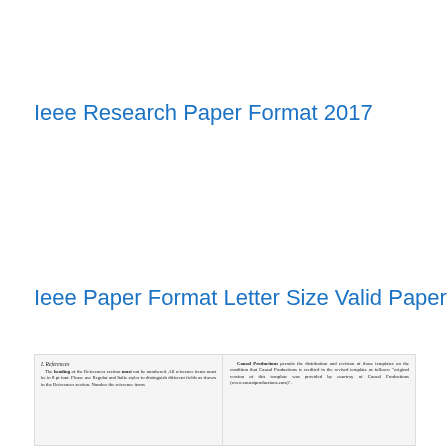Ieee Research Paper Format 2017
Ieee Paper Format Letter Size Valid Paper Scientific Research
[Figure (screenshot): Thumbnail of an IEEE paper showing two-column layout with a References section header and body text on the left column, and a paragraph about Causal Productions distribution and revision rights on the right column.]